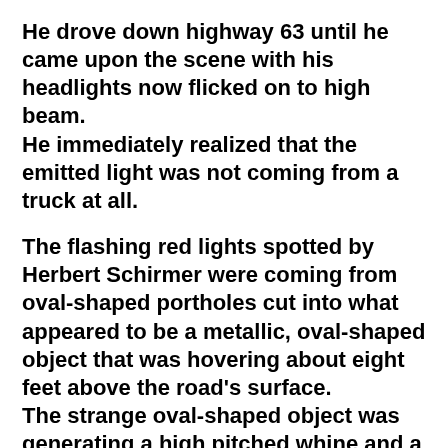He drove down highway 63 until he came upon the scene with his headlights now flicked on to high beam. He immediately realized that the emitted light was not coming from a truck at all.
The flashing red lights spotted by Herbert Schirmer were coming from oval-shaped portholes cut into what appeared to be a metallic, oval-shaped object that was hovering about eight feet above the road's surface. The strange oval-shaped object was generating a high pitched whine and a blue flame from underneath.
The strange oval-shaped UFO then rose and zoomed